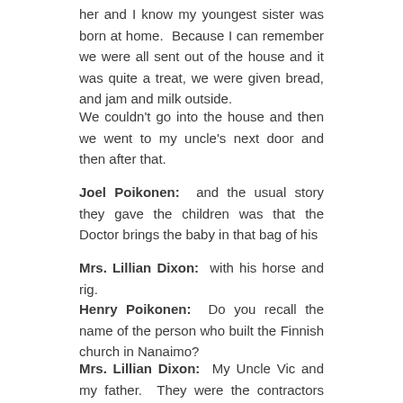her and I know my youngest sister was born at home.  Because I can remember we were all sent out of the house and it was quite a treat, we were given bread, and jam and milk outside.
We couldn't go into the house and then we went to my uncle's next door and then after that.
Joel Poikonen:  and the usual story they gave the children was that the Doctor brings the baby in that bag of his
Mrs. Lillian Dixon:  with his horse and rig.
Henry Poikonen:  Do you recall the name of the person who built the Finnish church in Nanaimo?
Mrs. Lillian Dixon:  My Uncle Vic and my father.  They were the contractors who built that big church on Milton Street and Victoria
Henry Poikonen:  This is important because there has been